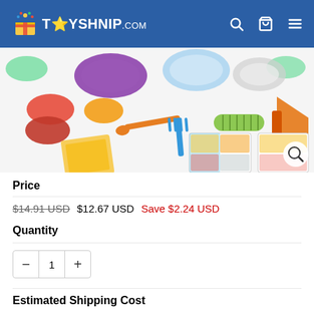TOYSHNIP.COM
[Figure (photo): Play-Doh food-themed toy set with colorful clay pieces, plates, utensils, food molds, rolling pin, and instruction booklets on white background.]
Price
$14.91 USD  $12.67 USD  Save $2.24 USD
Quantity
1
Estimated Shipping Cost